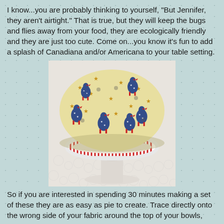I know...you are probably thinking to yourself, "But Jennifer, they aren't airtight." That is true, but they will keep the bugs and flies away from your food, they are ecologically friendly and they are just too cute. Come on...you know it's fun to add a splash of Canadiana and/or Americana to your table setting.
[Figure (photo): A ceramic pedestal bowl covered with a fabric bowl cover featuring a patriotic rooster pattern on a cream/yellow background with red and white striped binding around the edge, sitting on a white lace tablecloth.]
So if you are interested in spending 30 minutes making a set of these they are as easy as pie to create. Trace directly onto the wrong side of your fabric around the top of your bowls,